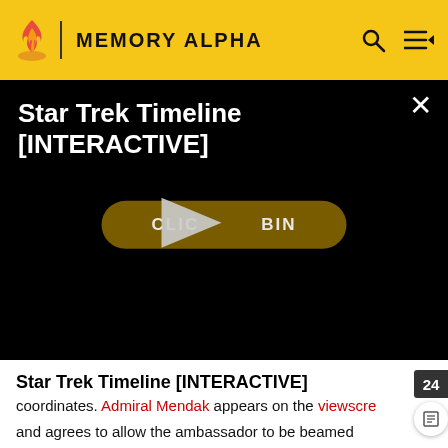MEMORY ALPHA
[Figure (screenshot): Video player overlay with black background showing title 'Star Trek Timeline [INTERACTIVE]' and a play button over a golden 'CLICK TO BEGIN' button]
Star Trek Timeline [INTERACTIVE]
coordinates. Admiral Mendak appears on the viewscreen and agrees to allow the ambassador to be beamed aboard. T'Pel refuses any attempt to have an escort, or to have the conference held aboard the Enterprise and